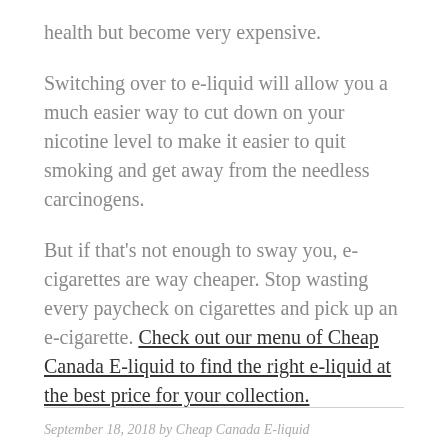health but become very expensive.
Switching over to e-liquid will allow you a much easier way to cut down on your nicotine level to make it easier to quit smoking and get away from the needless carcinogens.
But if that's not enough to sway you, e-cigarettes are way cheaper. Stop wasting every paycheck on cigarettes and pick up an e-cigarette. Check out our menu of Cheap Canada E-liquid to find the right e-liquid at the best price for your collection.
September 18, 2018 by Cheap Canada E-liquid